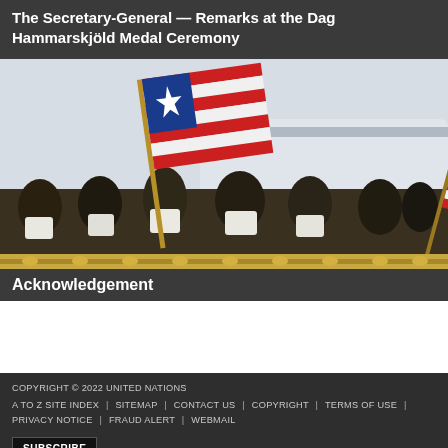The Secretary-General — Remarks at the Dag Hammarskjöld Medal Ceremony
[Figure (photo): People waving Liberian flags, smiling and celebrating outdoors near an aircraft]
Acknowledgement
COPYRIGHT © 2022 UNITED NATIONS
A TO Z SITE INDEX | SITEMAP | CONTACT US | COPYRIGHT | TERMS OF USE | PRIVACY NOTICE | FRAUD ALERT | WEBMAIL
SUBSCRIBE